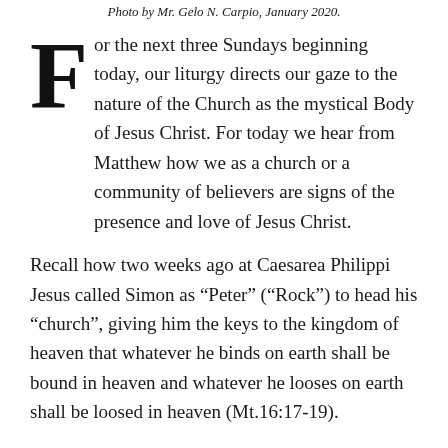Photo by Mr. Gelo N. Carpio, January 2020.
For the next three Sundays beginning today, our liturgy directs our gaze to the nature of the Church as the mystical Body of Jesus Christ. For today we hear from Matthew how we as a church or a community of believers are signs of the presence and love of Jesus Christ.
Recall how two weeks ago at Caesarea Philippi Jesus called Simon as “Peter” (“Rock”) to head his “church”, giving him the keys to the kingdom of heaven that whatever he binds on earth shall be bound in heaven and whatever he looses on earth shall be loosed in heaven (Mt.16:17-19).
Matthew is the only evangelist so particular in using the